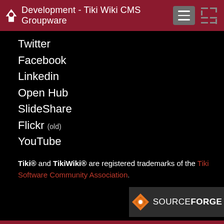Development - Tiki Wiki CMS Groupware
Twitter
Facebook
Linkedin
Open Hub
SlideShare
Flickr (old)
YouTube
Tiki® and TikiWiki® are registered trademarks of the Tiki Software Community Association.
[Figure (logo): SourceForge logo badge with orange diamond icon and SOURCEFORGE text]
Last updated (GIT 24.x:97bbc): Sunday 28 August, 2022 04:08:40 GMT-0000
[ Execution time: 0.24 secs ]  [ Memory usage: 11.96MB ]  [ Queries: 179 in 0.06 secs ]